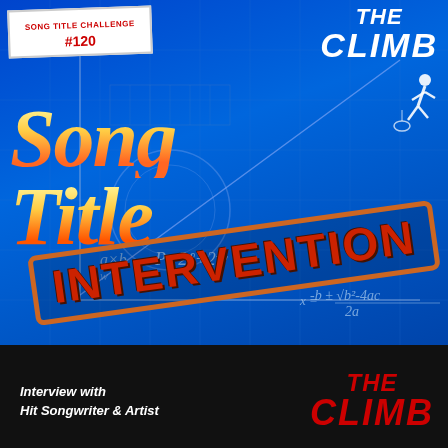Song Title Challenge #120
THE CLIMB
SONG TITLE
INTERVENTION
Interview with Hit Songwriter & Artist
THE CLIMB